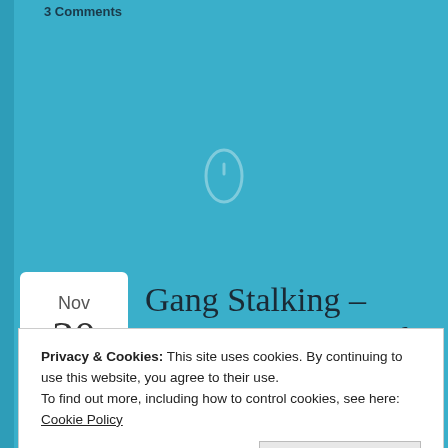3 Comments
Gang Stalking – PostaDay 2011 – If you needed more time, where would you take from?
Privacy & Cookies: This site uses cookies. By continuing to use this website, you agree to their use.
To find out more, including how to control cookies, see here: Cookie Policy
Close and accept